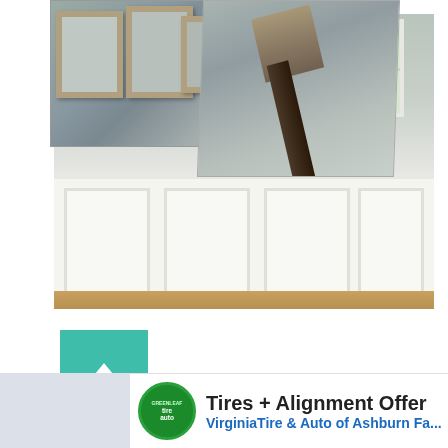[Figure (photo): A composite of three overlapping photos: top-left shows framed artwork on a gray-painted wall, top-center shows a paint brush angled diagonally, and the main/background photo shows a room interior with white wainscoting panels, a window, and hardwood floor.]
[Figure (infographic): A teal/turquoise square button with a white upward-pointing arrow, functioning as a scroll-to-top button on a webpage.]
[Figure (infographic): Advertisement banner for Virginia Tire & Auto of Ashburn: 'Tires + Alignment Offer' with green circular logo, blue navigation arrow icon, and blue text link 'VirginiaTire & Auto of Ashburn Fa...' with play and close controls on the left side.]